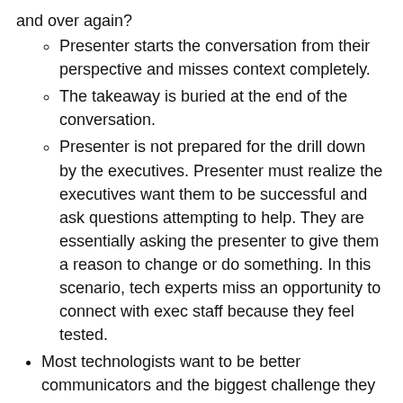and over again?
Presenter starts the conversation from their perspective and misses context completely.
The takeaway is buried at the end of the conversation.
Presenter is not prepared for the drill down by the executives. Presenter must realize the executives want them to be successful and ask questions attempting to help. They are essentially asking the presenter to give them a reason to change or do something. In this scenario, tech experts miss an opportunity to connect with exec staff because they feel tested.
Most technologists want to be better communicators and the biggest challenge they face include being anxious or unsure about effective